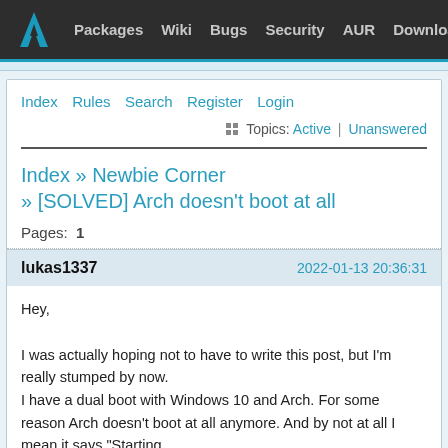Packages  Wiki  Bugs  Security  AUR  Download
Index  Rules  Search  Register  Login
Topics: Active | Unanswered
Index » Newbie Corner » [SOLVED] Arch doesn't boot at all
Pages: 1
lukas1337   2022-01-13 20:36:31
Hey,

I was actually hoping not to have to write this post, but I'm really stumped by now.
I have a dual boot with Windows 10 and Arch. For some reason Arch doesn't boot at all anymore. And by not at all I mean it says "Starting